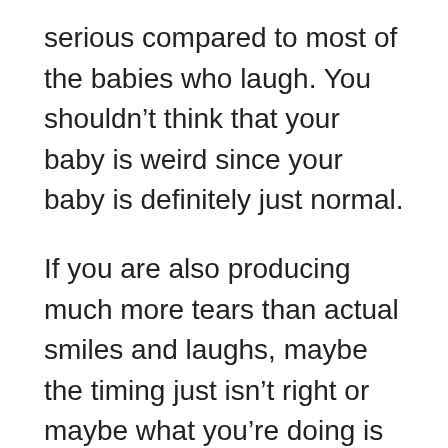serious compared to most of the babies who laugh. You shouldn't think that your baby is weird since your baby is definitely just normal.
If you are also producing much more tears than actual smiles and laughs, maybe the timing just isn't right or maybe what you're doing is just overwhelming for the baby. Try to get those things right if you don't want your baby to cry from your attempts to make them laugh.
If your child is also making a bunch of weird sounds, that is probably fine since they are just starting to develop their communication and speaking skills. However, if they sound too bizarre